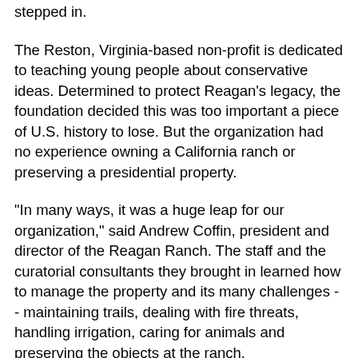stepped in.
The Reston, Virginia-based non-profit is dedicated to teaching young people about conservative ideas. Determined to protect Reagan's legacy, the foundation decided this was too important a piece of U.S. history to lose. But the organization had no experience owning a California ranch or preserving a presidential property.
"In many ways, it was a huge leap for our organization," said Andrew Coffin, president and director of the Reagan Ranch. The staff and the curatorial consultants they brought in learned how to manage the property and its many challenges -- maintaining trails, dealing with fire threats, handling irrigation, caring for animals and preserving the objects at the ranch.
In a few cases, items were transferred for their protection to the Reagan Ranch Center in Santa